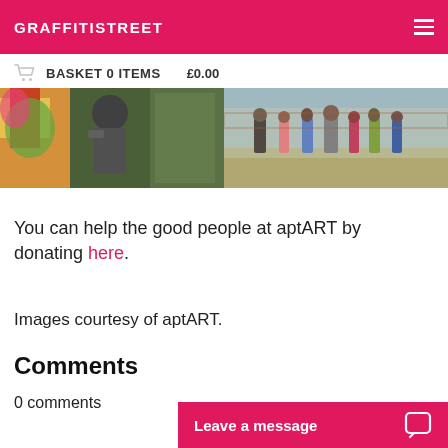GRAFFITISTREET
BASKET 0 ITEMS   £0.00
[Figure (photo): Two-panel photo strip: left panel shows a person painting graffiti on a wall with colorful art; right panel shows a group of people standing outdoors near a graffiti-covered wall.]
You can help the good people at aptART by donating here.
Images courtesy of aptART.
Comments
0 comments
Leave a message